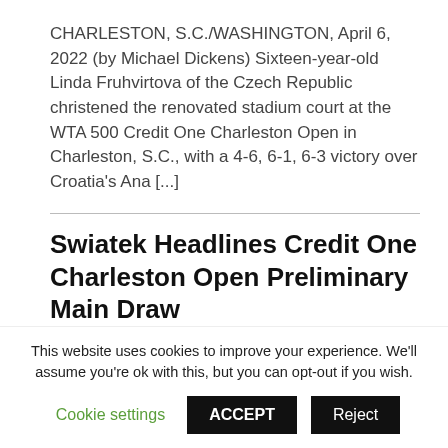CHARLESTON, S.C./WASHINGTON, April 6, 2022 (by Michael Dickens) Sixteen-year-old Linda Fruhvirtova of the Czech Republic christened the renovated stadium court at the WTA 500 Credit One Charleston Open in Charleston, S.C., with a 4-6, 6-1, 6-3 victory over Croatia's Ana [...]
Swiatek Headlines Credit One Charleston Open Preliminary Main Draw
March 12, 2022
CHARLESTON, S.C./WASHINGTON (by Michael
This website uses cookies to improve your experience. We'll assume you're ok with this, but you can opt-out if you wish.
Cookie settings   ACCEPT   Reject